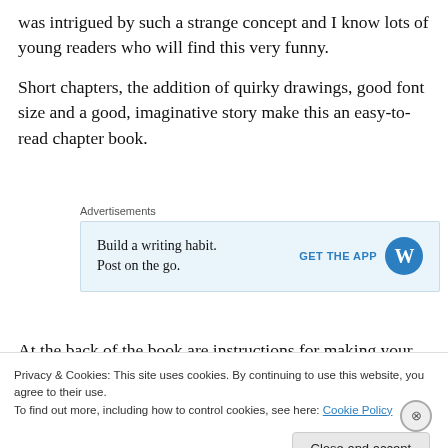was intrigued by such a strange concept and I know lots of young readers who will find this very funny.
Short chapters, the addition of quirky drawings, good font size and a good, imaginative story make this an easy-to-read chapter book.
[Figure (other): WordPress advertisement banner: 'Build a writing habit. Post on the go.' with GET THE APP button and WordPress logo]
At the back of the book are instructions for making your
Privacy & Cookies: This site uses cookies. By continuing to use this website, you agree to their use.
To find out more, including how to control cookies, see here: Cookie Policy
Close and accept